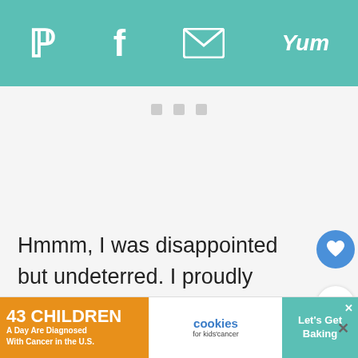Pinterest | Facebook | Email | Yum
[Figure (other): Gray advertisement placeholder area with three small gray squares/dots in a row]
Hmmm, I was disappointed but undeterred. I proudly wrote “Sacher” on top of the tort… because apparently Mr. Sacher was very proud of his creation, and this is standard. I al… th…
[Figure (infographic): Advertisement banner: '43 CHILDREN A Day Are Diagnosed With Cancer in the U.S.' with cookies for kids' cancer logo and 'Let’s Get Baking' call to action]